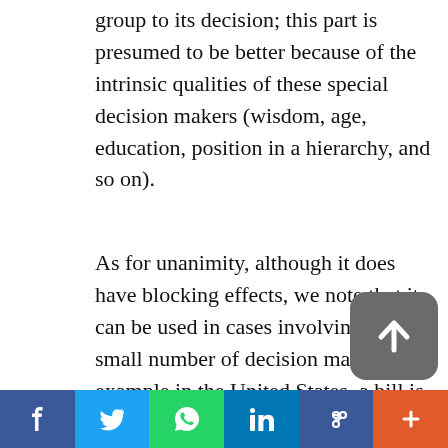group to its decision; this part is presumed to be better because of the intrinsic qualities of these special decision makers (wisdom, age, education, position in a hierarchy, and so on).
As for unanimity, although it does have blocking effects, we note that it can be used in cases involving a very small number of decision makers. For example in the United States, a bill is enacted only when there is unanimous agreement by the two houses of Congress and the President [8]; this was
[Figure (other): Social share bar with Facebook, Twitter, WhatsApp, LinkedIn, link, and more buttons]